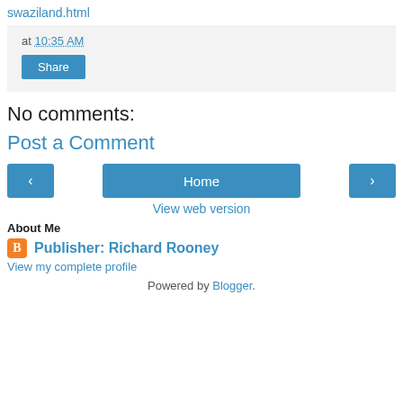swaziland.html
at 10:35 AM
Share
No comments:
Post a Comment
< Home >
View web version
About Me
Publisher: Richard Rooney
View my complete profile
Powered by Blogger.